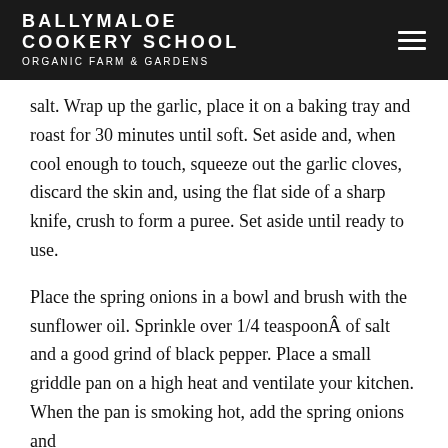BALLYMALOE COOKERY SCHOOL ORGANIC FARM & GARDENS
salt. Wrap up the garlic, place it on a baking tray and roast for 30 minutes until soft. Set aside and, when cool enough to touch, squeeze out the garlic cloves, discard the skin and, using the flat side of a sharp knife, crush to form a puree. Set aside until ready to use.
Place the spring onions in a bowl and brush with the sunflower oil. Sprinkle over 1/4 teaspoonÂ of salt and a good grind of black pepper. Place a small griddle pan on a high heat and ventilate your kitchen. When the pan is smoking hot, add the spring onions and